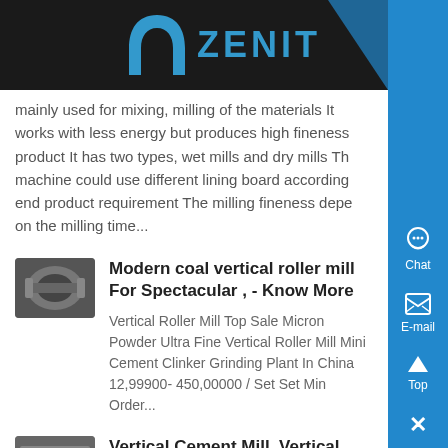ZENIT
mainly used for mixing, milling of the materials It works with less energy but produces high fineness product It has two types, wet mills and dry mills The machine could use different lining board according to end product requirement The milling fineness depe on the milling time...
Modern coal vertical roller mill For Spectacular , - Know More
Vertical Roller Mill Top Sale Micron Powder Ultra Fine Vertical Roller Mill Mini Cement Clinker Grinding Plant In China 12,99900- 450,00000 / Set Set Min Order...
Vertical Cement Mill, Vertical Roller M